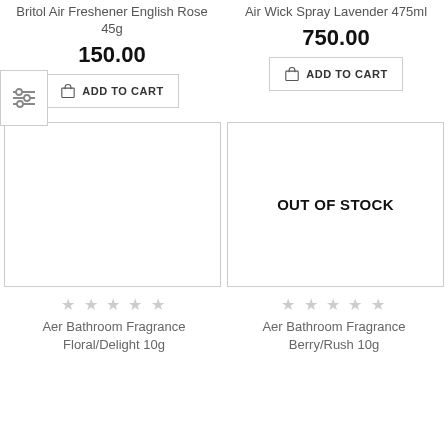Britol Air Freshener English Rose 45g
150.00
ADD TO CART
Air Wick Spray Lavender 475ml
750.00
ADD TO CART
[Figure (other): Empty product image placeholder (left card)]
OUT OF STOCK
★★★★★
Aer Bathroom Fragrance Floral/Delight 10g
★★★★★
Aer Bathroom Fragrance Berry/Rush 10g